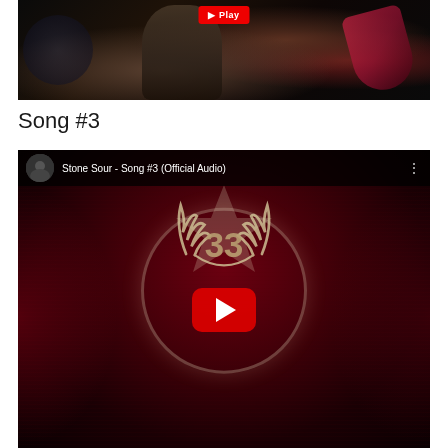[Figure (photo): Dark concert photo showing a singer holding a microphone and a guitarist with a pink/red guitar, drums visible in background. A red YouTube play button is visible at the top.]
Song #3
[Figure (screenshot): YouTube embed for 'Stone Sour - Song #3 (Official Audio)' showing a dark red music video thumbnail with the Stone Sour logo (laurel wreath with numbers) and a large YouTube play button in the center.]